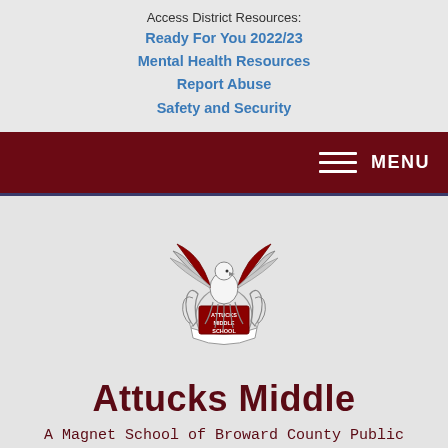Access District Resources:
Ready For You 2022/23
Mental Health Resources
Report Abuse
Safety and Security
[Figure (logo): Attucks Middle School crest with eagle and ribbon banner]
Attucks Middle
A Magnet School of Broward County Public Schools